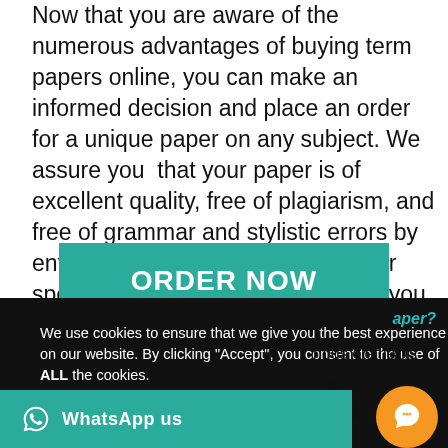Now that you are aware of the numerous advantages of buying term papers online, you can make an informed decision and place an order for a unique paper on any subject. We assure you that your paper is of excellent quality, free of plagiarism, and free of grammar and stylistic errors by entrusting the writing process to our specialists. Professionals can help you save time so you may spend it with your family or on other projects.
[Figure (other): Teal 'ORDER NOW' button]
[Figure (screenshot): Cookie consent overlay on dark background with text: 'We use cookies to ensure that we give you the best experience on our website. By clicking Accept, you consent to the use of ALL the cookies.' with 'Cookie settings' and 'ACCEPT' buttons. WhatsApp us bar at bottom. Orange chat bubble at bottom right. Partial text visible on right side in teal and black.]